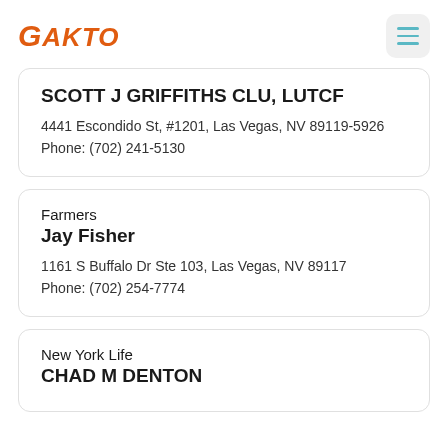GAKTO
SCOTT J GRIFFITHS CLU, LUTCF
4441 Escondido St, #1201, Las Vegas, NV 89119-5926
Phone: (702) 241-5130
Farmers
Jay Fisher
1161 S Buffalo Dr Ste 103, Las Vegas, NV 89117
Phone: (702) 254-7774
New York Life
CHAD M DENTON